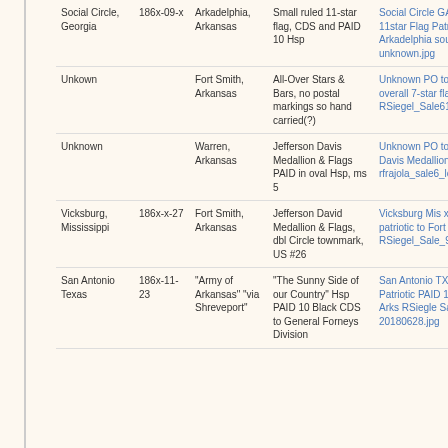| From | Date | To | Description | Image/Link |
| --- | --- | --- | --- | --- |
| Social Circle, Georgia | 186x-09-x | Arkadelphia, Arkansas | Small ruled 11-star flag, CDS and PAID 10 Hsp | Social Circle GA 9-x-186x 11star Flag Patriotic to Arkadelphia source unknown.jpg |
| Unkown |  | Fort Smith, Arkansas | All-Over Stars & Bars, no postal markings so hand carried(?) | Unknown PO to Ft Smith overall 7-star flag patriotic RSiegel_Sale619_Lot74.jpg |
| Unknown |  | Warren, Arkansas | Jefferson Davis Medallion & Flags PAID in oval Hsp, ms 5 | Unknown PO to Warren on Davis Medallion Patriotic rfrajola_sale6_lot490.jpg |
| Vicksburg, Mississippi | 186x-x-27 | Fort Smith, Arkansas | Jefferson David Medallion & Flags, dbl Circle townmark, US #26 | Vicksburg Mis x-27-186x patriotic to Fort Smith w No 26 RSiegel_Sale_927_Lot_1539.jpg |
| San Antonio Texas | 186x-11-23 | "Army of Arkansas" "via Shreveport" | "The Sunny Side of our Country" Hsp PAID 10 Black CDS to General Forneys Division | San Antonio TX 186x-11-23 Patriotic PAID 10 to Army of Arks RSiegle Sale 1186 Lot559 20180628.jpg |